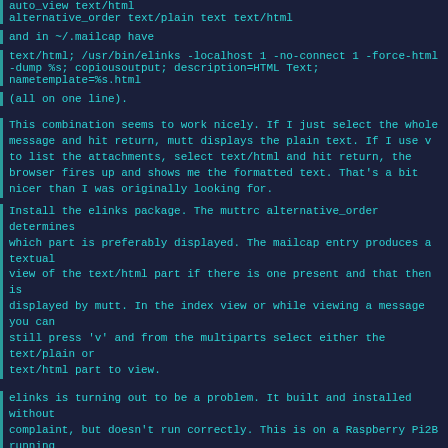auto_view text/html
alternative_order text/plain text text/html
and in ~/.mailcap have
text/html; /usr/bin/elinks -localhost 1 -no-connect 1 -force-html -dump %s;
copiousoutput; description=HTML Text; nametemplate=%s.html
(all on one line).
This combination seems to work nicely. If I just select the whole message and hit return, mutt displays the plain text. If I use v to list the attachments, select text/html and hit return, the browser fires up and shows me the formatted text. That's a bit nicer than I was originally looking for.
Install the elinks package. The muttrc alternative_order determines which part is preferably displayed. The mailcap entry produces a textual view of the text/html part if there is one present and that then is displayed by mutt. In the index view or while viewing a message you can still press 'v' and from the multiparts select either the text/plain or text/html part to view.
elinks is turning out to be a problem. It built and installed without complaint, but doesn't run correctly. This is on a Raspberry Pi2B running FreeBSD 12.2. The ports tree is stale. I'll update it and try again later. For now lynx is good enough.
Bob, try Links. eLinks is based on it. :)
--
Doyers! :D So many brokenesses, oldnesses, leaks, illnesses, videos, spams, issues, software updates, games, sins, tiredness, busyness, etc. Dang colony life! D:
Note: A fixed width font (Courier, Monospace, etc.) is required to see this signature correctly.
 /\___/\  Ant(Dude) @ http://aqfl.net & http://antfarm.home.dhs.org